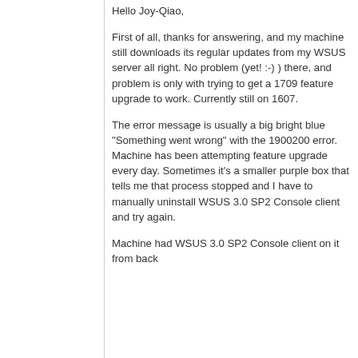Hello Joy-Qiao,
First of all, thanks for answering, and my machine still downloads its regular updates from my WSUS server all right. No problem (yet! :-) ) there, and problem is only with trying to get a 1709 feature upgrade to work. Currently still on 1607.
The error message is usually a big bright blue "Something went wrong" with the 1900200 error. Machine has been attempting feature upgrade every day. Sometimes it's a smaller purple box that tells me that process stopped and I have to manually uninstall WSUS 3.0 SP2 Console client and try again.
Machine had WSUS 3.0 SP2 Console client on it from back